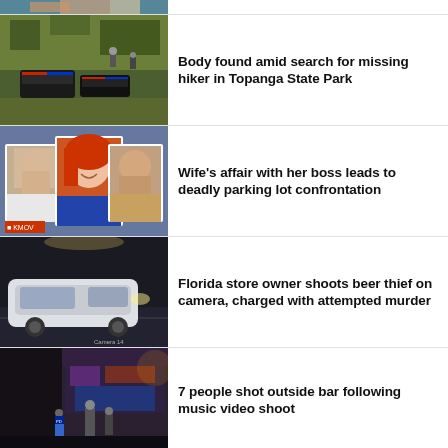[Figure (photo): Partial cropped photo strip at top — faces barely visible]
[Figure (photo): Aerial view of police cars and officers in wooded area, Topanga State Park search scene]
Body found amid search for missing hiker in Topanga State Park
[Figure (photo): Collage of three portraits — older man, red-haired woman smiling, younger man — crime story images]
Wife's affair with her boss leads to deadly parking lot confrontation
[Figure (photo): Night surveillance camera image of white sedan in parking lot, Camera 14 label]
Florida store owner shoots beer thief on camera, charged with attempted murder
[Figure (photo): Night street scene outside a bar with people and police, graffiti on building]
7 people shot outside bar following music video shoot